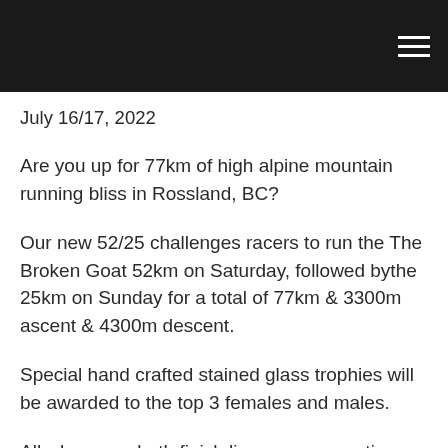July 16/17, 2022
Are you up for 77km of high alpine mountain running bliss in Rossland, BC?
Our new 52/25 challenges racers to run the The Broken Goat 52km on Saturday, followed bythe 25km on Sunday for a total of 77km & 3300m ascent & 4300m descent.
Special hand crafted stained glass trophies will be awarded to the top 3 females and males.
All who cross both finish lines onconsecutive days will